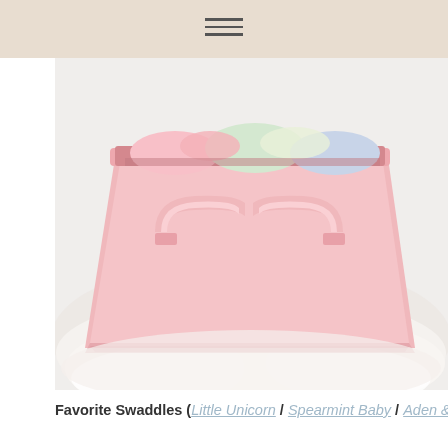[Figure (photo): A pink fabric storage bin/basket filled with baby swaddles, placed on a white fluffy rug. The bin has two handles and appears to contain colorful rolled swaddle blankets.]
Favorite Swaddles (Little Unicorn / Spearmint Baby / Aden &